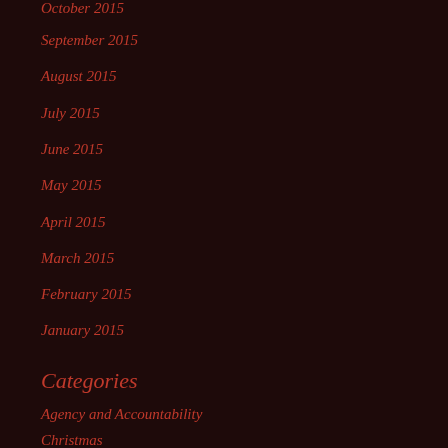October 2015
September 2015
August 2015
July 2015
June 2015
May 2015
April 2015
March 2015
February 2015
January 2015
Categories
Agency and Accountability
Christmas